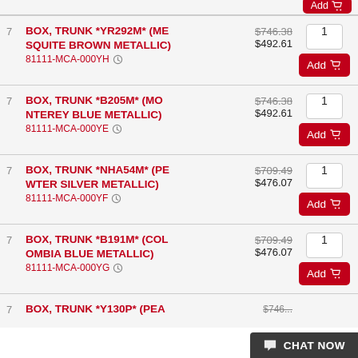7 BOX, TRUNK *YR292M* (MESQUITE BROWN METALLIC) 81111-MCA-000YH  $746.38 $492.61  qty:1  Add
7 BOX, TRUNK *B205M* (MONTEREY BLUE METALLIC) 81111-MCA-000YE  $746.38 $492.61  qty:1  Add
7 BOX, TRUNK *NHA54M* (PEWTER SILVER METALLIC) 81111-MCA-000YF  $709.49 $476.07  qty:1  Add
7 BOX, TRUNK *B191M* (COLOMBIA BLUE METALLIC) 81111-MCA-000YG  $709.49 $476.07  qty:1  Add
7 BOX, TRUNK *Y130P* (PEA...  $746...